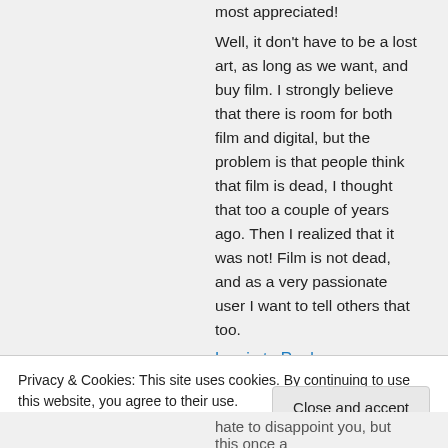most appreciated! Well, it don't have to be a lost art, as long as we want, and buy film. I strongly believe that there is room for both film and digital, but the problem is that people think that film is dead, I thought that too a couple of years ago. Then I realized that it was not! Film is not dead, and as a very passionate user I want to tell others that too.
Log in to Reply
Privacy & Cookies: This site uses cookies. By continuing to use this website, you agree to their use. To find out more, including how to control cookies, see here: Cookie Policy
Close and accept
hate to disappoint you, but this once a